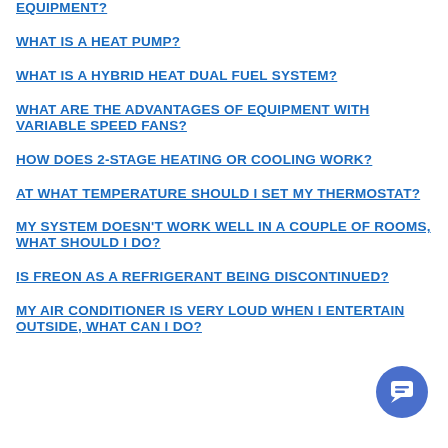EQUIPMENT?
WHAT IS A HEAT PUMP?
WHAT IS A HYBRID HEAT DUAL FUEL SYSTEM?
WHAT ARE THE ADVANTAGES OF EQUIPMENT WITH VARIABLE SPEED FANS?
HOW DOES 2-STAGE HEATING OR COOLING WORK?
AT WHAT TEMPERATURE SHOULD I SET MY THERMOSTAT?
MY SYSTEM DOESN'T WORK WELL IN A COUPLE OF ROOMS, WHAT SHOULD I DO?
IS FREON AS A REFRIGERANT BEING DISCONTINUED?
MY AIR CONDITIONER IS VERY LOUD WHEN I ENTERTAIN OUTSIDE, WHAT CAN I DO?